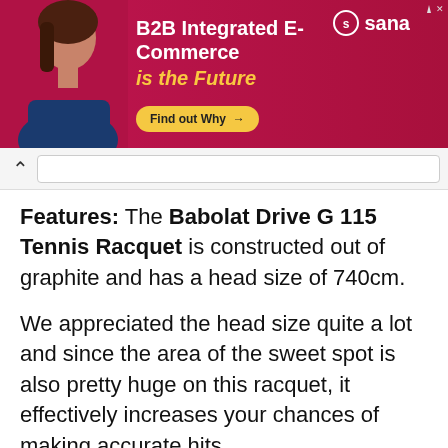[Figure (infographic): Advertisement banner for Sana Commerce. Pink/magenta background with a woman smiling, text 'B2B Integrated E-Commerce is the Future', a yellow 'Find out Why →' button, and the Sana logo in the top right.]
Features: The Babolat Drive G 115 Tennis Racquet is constructed out of graphite and has a head size of 740cm.
We appreciated the head size quite a lot and since the area of the sweet spot is also pretty huge on this racquet, it effectively increases your chances of making accurate hits.
The reinforced stiffness of the construction also offers you complete control over your shots.